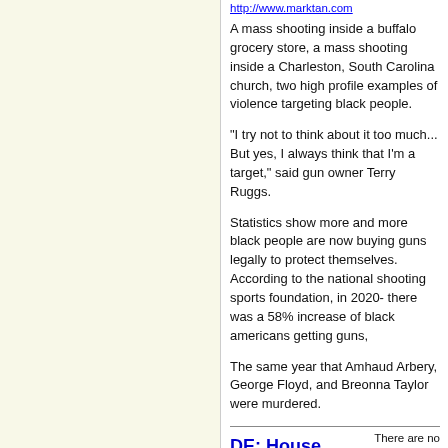http://www.marktan.com
A mass shooting inside a buffalo grocery store, a mass shooting inside a Charleston, South Carolina church, two high profile examples of violence targeting black people.
"I try not to think about it too much... But yes, I always think that I'm a target," said gun owner Terry Ruggs.
Statistics show more and more black people are now buying guns legally to protect themselves. According to the national shooting sports foundation, in 2020- there was a 58% increase of black americans getting guns,
The same year that Amhaud Arbery, George Floyd, and Breonna Taylor were murdered.
DE: House votes to raise
There are no